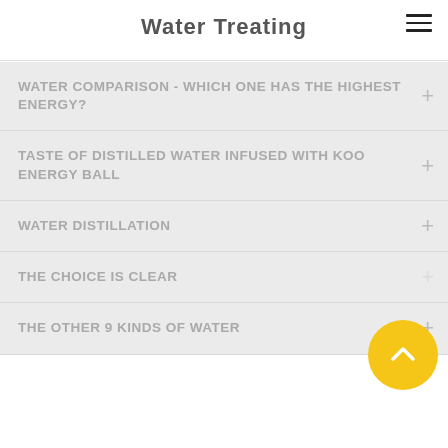Water Treating
WATER COMPARISON - WHICH ONE HAS THE HIGHEST ENERGY?
TASTE OF DISTILLED WATER INFUSED WITH KOO ENERGY BALL
WATER DISTILLATION
THE CHOICE IS CLEAR
THE OTHER 9 KINDS OF WATER